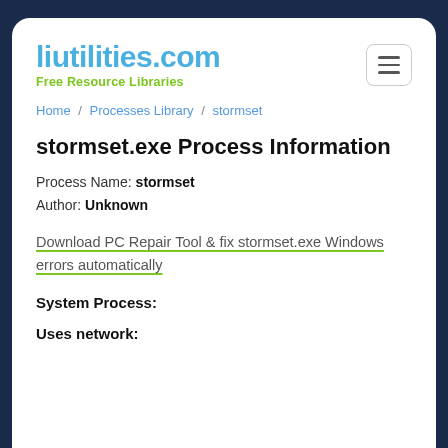liutilities.com
Free Resource Libraries
Home / Processes Library / stormset
stormset.exe Process Information
Process Name: stormset
Author: Unknown
Download PC Repair Tool & fix stormset.exe Windows errors automatically
System Process:
Uses network: